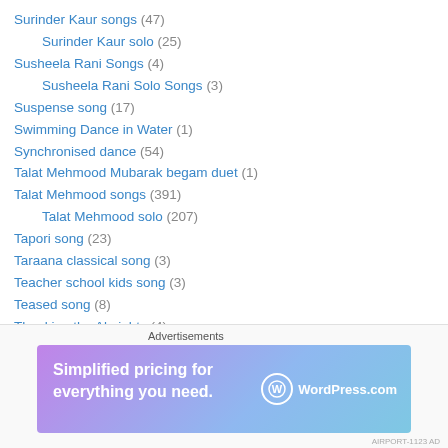Surinder Kaur songs (47)
Surinder Kaur solo (25)
Susheela Rani Songs (4)
Susheela Rani Solo Songs (3)
Suspense song (17)
Swimming Dance in Water (1)
Synchronised dance (54)
Talat Mehmood Mubarak begam duet (1)
Talat Mehmood songs (391)
Talat Mehmood solo (207)
Tapori song (23)
Taraana classical song (3)
Teacher school kids song (3)
Teased song (8)
Thanking the Almighty (4)
Theme song (498)
[Figure (infographic): WordPress.com advertisement banner with gradient background. Text: Simplified pricing for everything you need. WordPress.com logo on the right.]